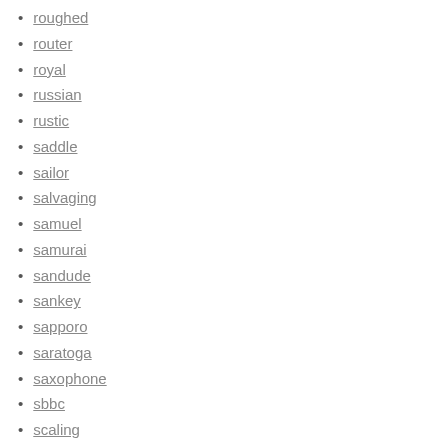roughed
router
royal
russian
rustic
saddle
sailor
salvaging
samuel
samurai
sandude
sankey
sapporo
saratoga
saxophone
sbbc
scaling
scarce
schlitz
schmidt